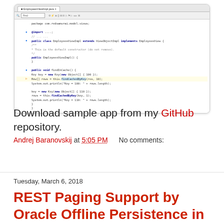[Figure (screenshot): IDE screenshot showing EmployeesViewImpl.java with Java code including findInCache() method with highlighted line: rows = this.findCachedByKey(res, 10);]
Download sample app from my GitHub repository.
Andrej Baranovskij at 5:05 PM    No comments:
Share
Tuesday, March 6, 2018
REST Paging Support by Oracle Offline Persistence in JET
Oracle Offline Persistence... Oracle Def...